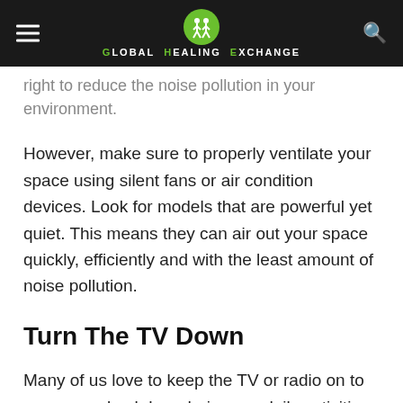Global Healing Exchange
right to reduce the noise pollution in your environment.
However, make sure to properly ventilate your space using silent fans or air condition devices. Look for models that are powerful yet quiet. This means they can air out your space quickly, efficiently and with the least amount of noise pollution.
Turn The TV Down
Many of us love to keep the TV or radio on to serve as a backdrop during our daily activities and even